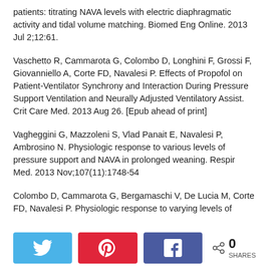patients: titrating NAVA levels with electric diaphragmatic activity and tidal volume matching. Biomed Eng Online. 2013 Jul 2;12:61.
Vaschetto R, Cammarota G, Colombo D, Longhini F, Grossi F, Giovanniello A, Corte FD, Navalesi P. Effects of Propofol on Patient-Ventilator Synchrony and Interaction During Pressure Support Ventilation and Neurally Adjusted Ventilatory Assist. Crit Care Med. 2013 Aug 26. [Epub ahead of print]
Vagheggini G, Mazzoleni S, Vlad Panait E, Navalesi P, Ambrosino N. Physiologic response to various levels of pressure support and NAVA in prolonged weaning. Respir Med. 2013 Nov;107(11):1748-54
Colombo D, Cammarota G, Bergamaschi V, De Lucia M, Corte FD, Navalesi P. Physiologic response to varying levels of